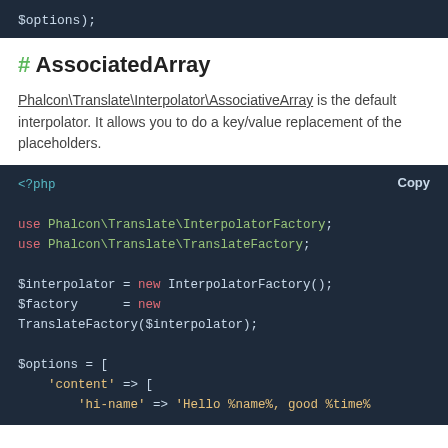[Figure (screenshot): Top code block showing '$options);' in monospace on dark background]
# AssociatedArray
Phalcon\Translate\Interpolator\AssociativeArray is the default interpolator. It allows you to do a key/value replacement of the placeholders.
[Figure (screenshot): PHP code block showing use statements for InterpolatorFactory and TranslateFactory, instantiation of $interpolator and $factory, and beginning of $options array with 'content' => [ 'hi-name' => 'Hello %name%, good %time%]